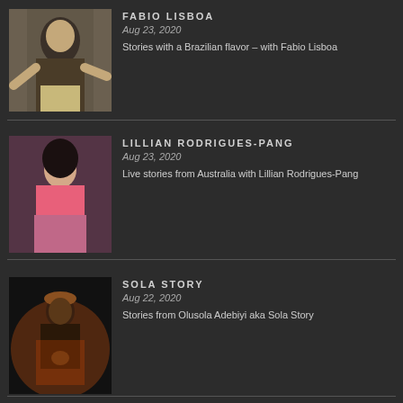[Figure (photo): Photo of Fabio Lisboa – man in floral shirt gesturing]
FABIO LISBOA
Aug 23, 2020
Stories with a Brazilian flavor – with Fabio Lisboa
[Figure (photo): Photo of Lillian Rodrigues-Pang – woman in pink top]
LILLIAN RODRIGUES-PANG
Aug 23, 2020
Live stories from Australia with Lillian Rodrigues-Pang
[Figure (photo): Photo of Sola Story performer on stage with colorful lighting]
SOLA STORY
Aug 22, 2020
Stories from Olusola Adebiyi aka Sola Story
[Figure (photo): Photo of Mark Fraser – man in hat]
MARK FRASER
Aug 21, 2020
CHILDRENS FRIDAY NIGHT WITH Mark Fraser